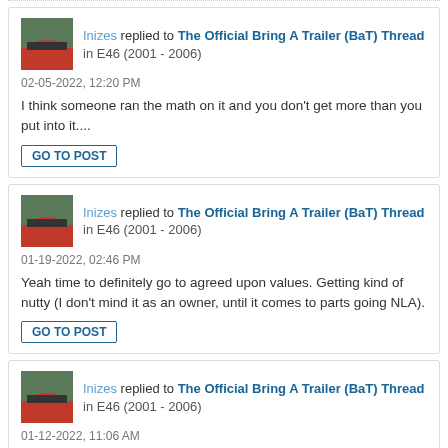Inizes replied to The Official Bring A Trailer (BaT) Thread in E46 (2001 - 2006)
02-05-2022, 12:20 PM
I think someone ran the math on it and you don't get more than you put into it....
GO TO POST
Inizes replied to The Official Bring A Trailer (BaT) Thread in E46 (2001 - 2006)
01-19-2022, 02:46 PM
Yeah time to definitely go to agreed upon values. Getting kind of nutty (I don't mind it as an owner, until it comes to parts going NLA).
GO TO POST
Inizes replied to The Official Bring A Trailer (BaT) Thread in E46 (2001 - 2006)
01-12-2022, 11:06 AM
Catless headers do add quite a bit of power, intake probably not so much. I wouldn't discredit the 30hp claim so harshly....
GO TO POST